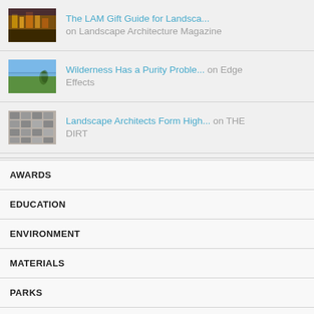The LAM Gift Guide for Landsca... on Landscape Architecture Magazine
Wilderness Has a Purity Proble... on Edge Effects
Landscape Architects Form High... on THE DIRT
AWARDS
EDUCATION
ENVIRONMENT
MATERIALS
PARKS
PLANNING